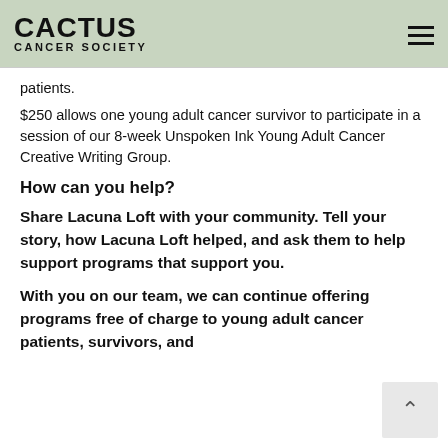CACTUS CANCER SOCIETY
patients.
$250 allows one young adult cancer survivor to participate in a session of our 8-week Unspoken Ink Young Adult Cancer Creative Writing Group.
How can you help?
Share Lacuna Loft with your community. Tell your story, how Lacuna Loft helped, and ask them to help support programs that support you.
With you on our team, we can continue offering programs free of charge to young adult cancer patients, survivors, and